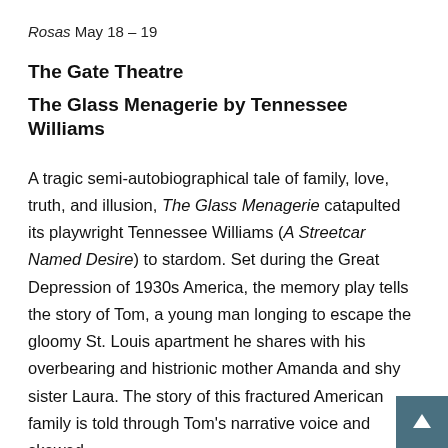Rosas May 18 – 19
The Gate Theatre
The Glass Menagerie by Tennessee Williams
A tragic semi-autobiographical tale of family, love, truth, and illusion, The Glass Menagerie catapulted its playwright Tennessee Williams (A Streetcar Named Desire) to stardom. Set during the Great Depression of 1930s America, the memory play tells the story of Tom, a young man longing to escape the gloomy St. Louis apartment he shares with his overbearing and histrionic mother Amanda and shy sister Laura. The story of this fractured American family is told through Tom's narrative voice and skewed